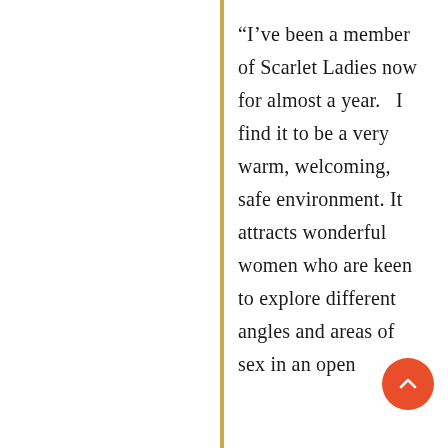“I’ve been a member of Scarlet Ladies now for almost a year.  I find it to be a very warm, welcoming, safe environment. It attracts wonderful women who are keen to explore different angles and areas of sex in an open